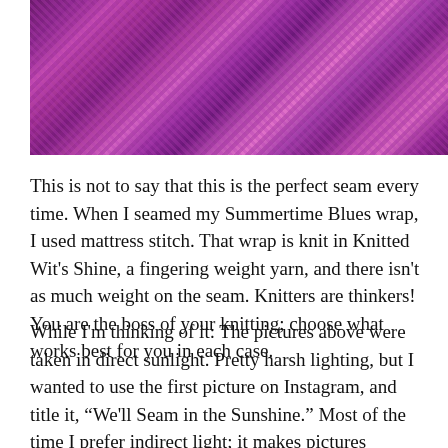[Figure (photo): Close-up photograph of purple/magenta knitted yarn texture in direct sunlight]
This is not to say that this is the perfect seam every time. When I seamed my Summertime Blues wrap, I used mattress stitch. That wrap is knit in Knitted Wit's Shine, a fingering weight yarn, and there isn't as much weight on the seam. Knitters are thinkers! You are the boss of your knitting; choose what works best for you in each case.
While I'm thinking of it: The pictures above were taken in direct sunlight. Pretty harsh lighting, but I wanted to use the first picture on Instagram, and title it, “We'll Seam in the Sunshine.” Most of the time I prefer indirect light; it makes pictures prettier.